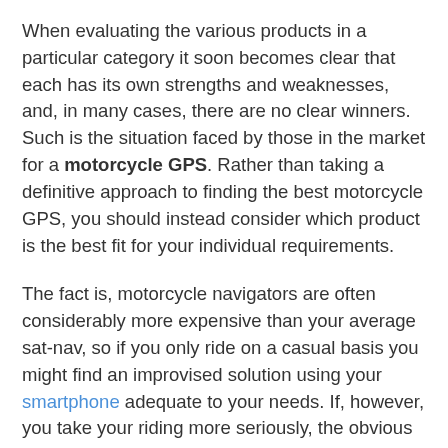When evaluating the various products in a particular category it soon becomes clear that each has its own strengths and weaknesses, and, in many cases, there are no clear winners. Such is the situation faced by those in the market for a motorcycle GPS. Rather than taking a definitive approach to finding the best motorcycle GPS, you should instead consider which product is the best fit for your individual requirements.
The fact is, motorcycle navigators are often considerably more expensive than your average sat-nav, so if you only ride on a casual basis you might find an improvised solution using your smartphone adequate to your needs. If, however, you take your riding more seriously, the obvious benefits in terms of functionality and convenience make a dedicated motorcycle GPS a totally worthwhile investment.